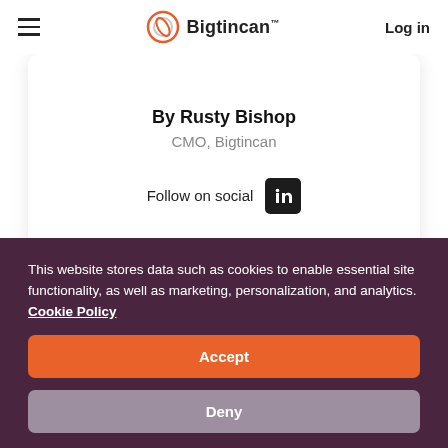Bigtincan — Log in
By Rusty Bishop
CMO, Bigtincan
Follow on social
This website stores data such as cookies to enable essential site functionality, as well as marketing, personalization, and analytics. Cookie Policy
Accept
Deny